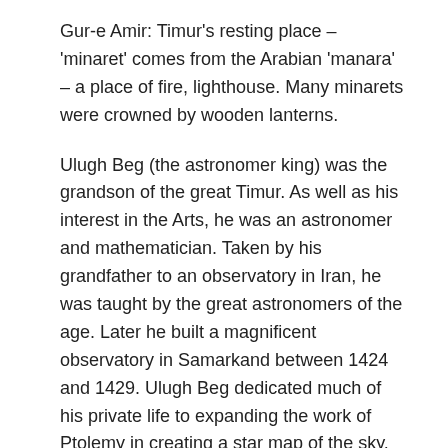Gur-e Amir: Timur's resting place – 'minaret' comes from the Arabian 'manara' – a place of fire, lighthouse. Many minarets were crowned by wooden lanterns.
Ulugh Beg (the astronomer king) was the grandson of the great Timur. As well as his interest in the Arts, he was an astronomer and mathematician. Taken by his grandfather to an observatory in Iran, he was taught by the great astronomers of the age. Later he built a magnificent observatory in Samarkand between 1424 and 1429. Ulugh Beg dedicated much of his private life to expanding the work of Ptolemy in creating a star map of the sky. His observatory was considered one of the world's finest. Inside were 50 rooms and four lecture halls. He gave scholarships to children and offered free education for girls. He transformed Samarkand into a cultural centre of learning. His free thinking as well as his lack of governance skills saw him murdered by his own son. His head was sent back to the city and his observatory was destroyed by fanatics, but his star map was